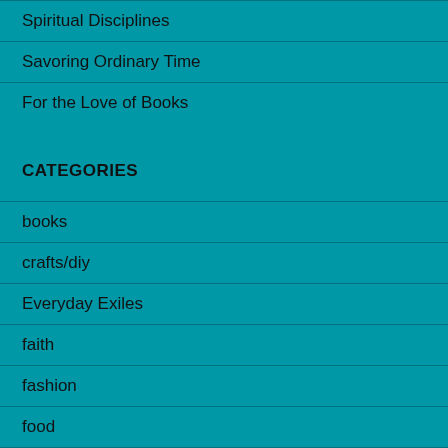Spiritual Disciplines
Savoring Ordinary Time
For the Love of Books
CATEGORIES
books
crafts/diy
Everyday Exiles
faith
fashion
food
food